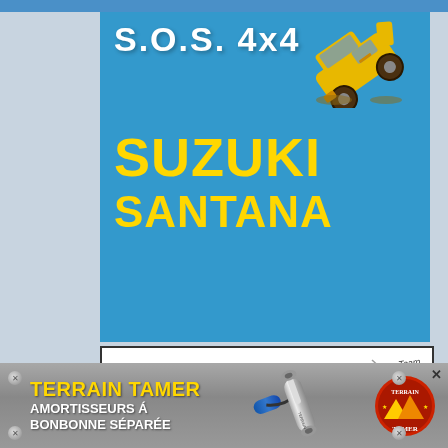[Figure (logo): SOS 4x4 banner with blue background, white SOS 4x4 text, yellow off-road vehicle illustration, and large yellow SUZUKI SANTANA text]
[Figure (logo): DREAM TEAM CAR banner with black text header, red gecko/lizard logo with Dream Team script, and photo of 4x4 vehicle on dirt road]
[Figure (infographic): TERRAIN TAMER advertisement banner with gray background, yellow TERRAIN TAMER title, white text AMORTISSEURS À BONBONNE SÉPARÉE, shock absorber product photo, and Terrain Tamer circular logo. Close X button top right.]